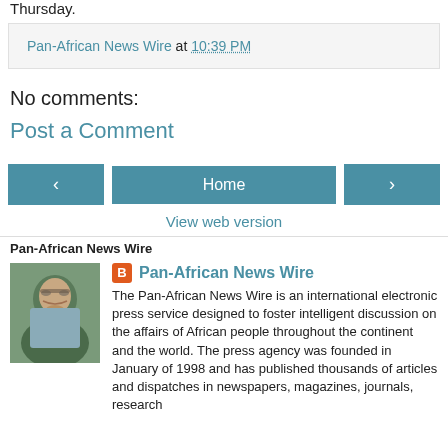Thursday.
Pan-African News Wire at 10:39 PM
No comments:
Post a Comment
[Figure (other): Navigation buttons: left arrow, Home, right arrow]
View web version
Pan-African News Wire
[Figure (photo): Profile photo of a man with glasses and grey beard]
Pan-African News Wire
The Pan-African News Wire is an international electronic press service designed to foster intelligent discussion on the affairs of African people throughout the continent and the world. The press agency was founded in January of 1998 and has published thousands of articles and dispatches in newspapers, magazines, journals, research